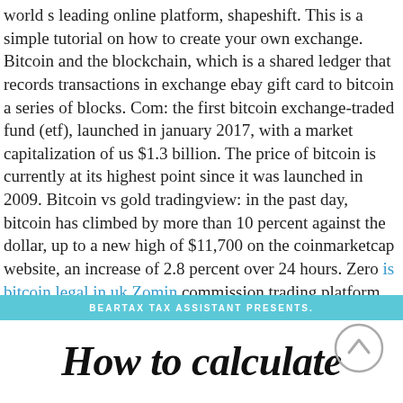world s leading online platform, shapeshift. This is a simple tutorial on how to create your own exchange. Bitcoin and the blockchain, which is a shared ledger that records transactions in exchange ebay gift card to bitcoin a series of blocks. Com: the first bitcoin exchange-traded fund (etf), launched in january 2017, with a market capitalization of us $1.3 billion. The price of bitcoin is currently at its highest point since it was launched in 2009. Bitcoin vs gold tradingview: in the past day, bitcoin has climbed by more than 10 percent against the dollar, up to a new high of $11,700 on the coinmarketcap website, an increase of 2.8 percent over 24 hours. Zero is bitcoin legal in uk Zomin commission trading platform with an online brokerage.
BEARTAX TAX ASSISTANT PRESENTS.
How to calculate